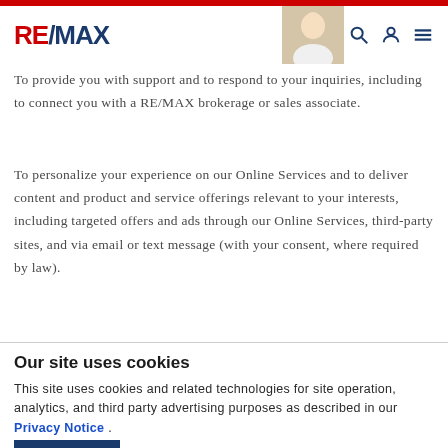RE/MAX
To provide you with support and to respond to your inquiries, including to connect you with a RE/MAX brokerage or sales associate.
To personalize your experience on our Online Services and to deliver content and product and service offerings relevant to your interests, including targeted offers and ads through our Online Services, third-party sites, and via email or text message (with your consent, where required by law).
Our site uses cookies
This site uses cookies and related technologies for site operation, analytics, and third party advertising purposes as described in our Privacy Notice .